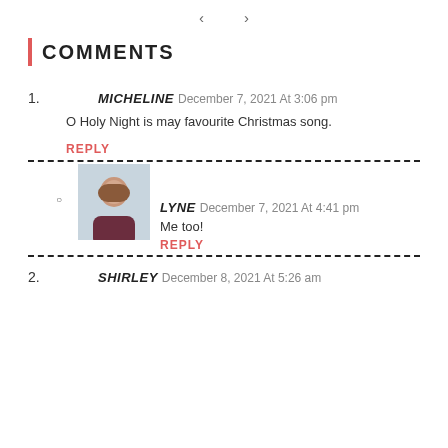< >
COMMENTS
MICHELINE December 7, 2021 At 3:06 pm
O Holy Night is may favourite Christmas song.
REPLY
LYNE December 7, 2021 At 4:41 pm
Me too!
REPLY
SHIRLEY December 8, 2021 At 5:26 am